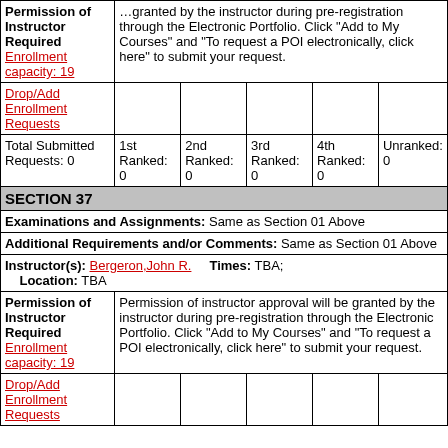| Permission of Instructor Required
Enrollment capacity: 19 | …granted by the instructor during pre-registration through the Electronic Portfolio. Click "Add to My Courses" and "To request a POI electronically, click here" to submit your request. |
| Drop/Add Enrollment Requests |  |  |  |  |  |
| Total Submitted Requests: 0 | 1st Ranked: 0 | 2nd Ranked: 0 | 3rd Ranked: 0 | 4th Ranked: 0 | Unranked: 0 |
SECTION 37
Examinations and Assignments: Same as Section 01 Above
Additional Requirements and/or Comments: Same as Section 01 Above
Instructor(s): Bergeron,John R.    Times: TBA;    Location: TBA
| Permission of Instructor Required
Enrollment capacity: 19 | Permission of instructor approval will be granted by the instructor during pre-registration through the Electronic Portfolio. Click "Add to My Courses" and "To request a POI electronically, click here" to submit your request. |
| Drop/Add Enrollment Requests |  |  |  |  |  |